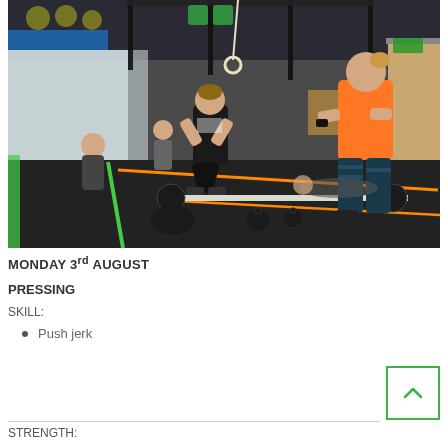[Figure (photo): Indoor CrossFit gym scene with multiple athletes training. A woman in an orange shirt stands in the foreground on the right, watching a woman in black performing a movement. Other athletes are visible in the background on black rubber flooring with green and orange tape markings. Various gym equipment including barbells, plates, and kettlebells are scattered around.]
MONDAY 3rd AUGUST
PRESSING
SKILL:
Push jerk
STRENGTH: